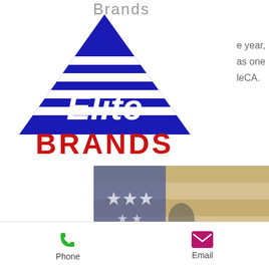[Figure (logo): Elite Brands LLC logo: blue triangle with white horizontal stripes and 'Elite' text in white, 'BRANDS' in red below triangle]
Brands
e year, as one leCA.
[Figure (photo): Patriotic background image showing American flag overlaid on silhouette of soldier]
Elite Brands LLC
Fresh Focus... Superior Performance
Tel: 508-553-8887
[Figure (other): Hamburger menu button (three horizontal lines) in white rounded rectangle]
Phone
Email